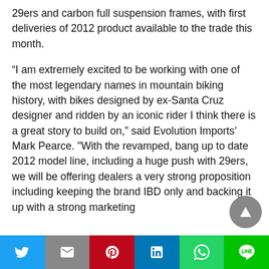29ers and carbon full suspension frames, with first deliveries of 2012 product available to the trade this month.
“I am extremely excited to be working with one of the most legendary names in mountain biking history, with bikes designed by ex-Santa Cruz designer and ridden by an iconic rider I think there is a great story to build on,” said Evolution Imports’ Mark Pearce. "With the revamped, bang up to date 2012 model line, including a huge push with 29ers, we will be offering dealers a very strong proposition including keeping the brand IBD only and backing it up with a strong marketing